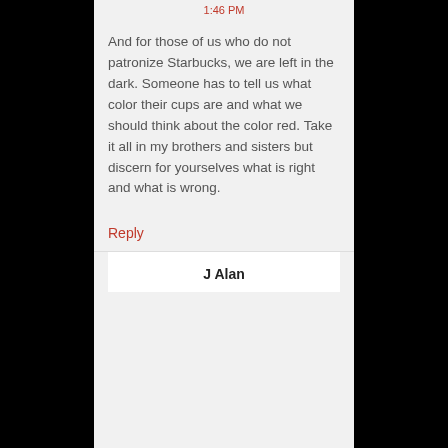1:46 PM
And for those of us who do not patronize Starbucks, we are left in the dark. Someone has to tell us what color their cups are and what we should think about the color red. Take it all in my brothers and sisters but discern for yourselves what is right and what is wrong.
Reply
J Alan